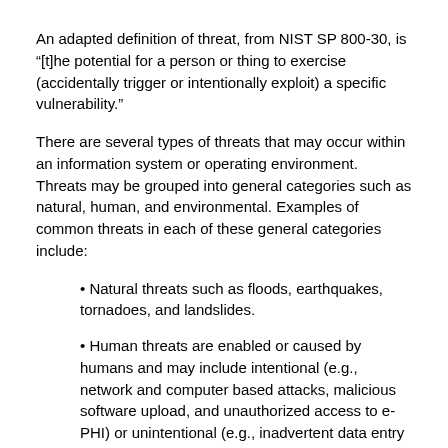An adapted definition of threat, from NIST SP 800-30, is “[t]he potential for a person or thing to exercise (accidentally trigger or intentionally exploit) a specific vulnerability.”
There are several types of threats that may occur within an information system or operating environment. Threats may be grouped into general categories such as natural, human, and environmental. Examples of common threats in each of these general categories include:
• Natural threats such as floods, earthquakes, tornadoes, and landslides.
• Human threats are enabled or caused by humans and may include intentional (e.g., network and computer based attacks, malicious software upload, and unauthorized access to e-PHI) or unintentional (e.g., inadvertent data entry or deletion and inaccurate data entry) actions.
• Environmental threats such as power failures, pollution, chemical and liquid leaks...